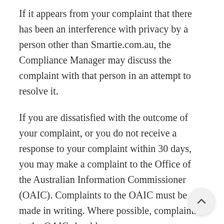If it appears from your complaint that there has been an interference with privacy by a person other than Smartie.com.au, the Compliance Manager may discuss the complaint with that person in an attempt to resolve it.
If you are dissatisfied with the outcome of your complaint, or you do not receive a response to your complaint within 30 days, you may make a complaint to the Office of the Australian Information Commissioner (OAIC). Complaints to the OAIC must be made in writing. Where possible, complaints to the OAIC should